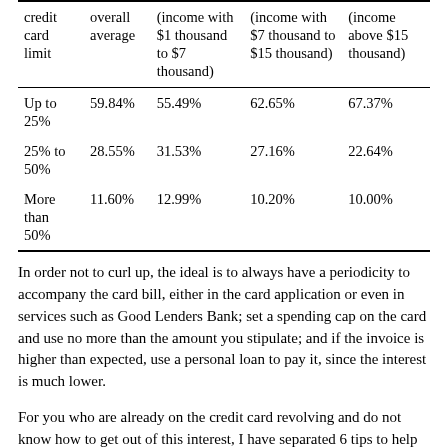| credit card limit | overall average | (income with $1 thousand to $7 thousand) | (income with $7 thousand to $15 thousand) | (income above $15 thousand) |
| --- | --- | --- | --- | --- |
| Up to 25% | 59.84% | 55.49% | 62.65% | 67.37% |
| 25% to 50% | 28.55% | 31.53% | 27.16% | 22.64% |
| More than 50% | 11.60% | 12.99% | 10.20% | 10.00% |
In order not to curl up, the ideal is to always have a periodicity to accompany the card bill, either in the card application or even in services such as Good Lenders Bank; set a spending cap on the card and use no more than the amount you stipulate; and if the invoice is higher than expected, use a personal loan to pay it, since the interest is much lower.
For you who are already on the credit card revolving and do not know how to get out of this interest, I have separated 6 tips to help you!
Collect all debts